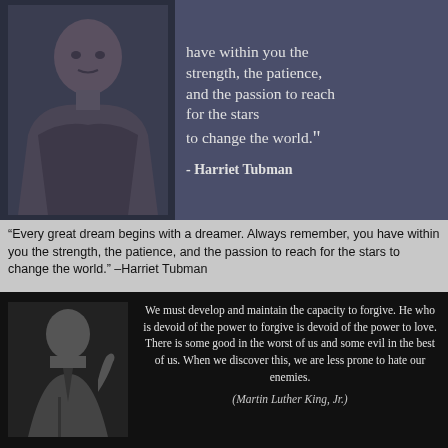[Figure (photo): Black and white photo of Harriet Tubman with a quote overlay on dark blue-gray background: 'have within you the strength, the patience, and the passion to reach for the stars to change the world.' - Harriet Tubman]
“Every great dream begins with a dreamer. Always remember, you have within you the strength, the patience, and the passion to reach for the stars to change the world.” -Harriet Tubman
[Figure (photo): Black and white photo of Martin Luther King Jr. with quote on black background: 'We must develop and maintain the capacity to forgive. He who is devoid of the power to forgive is devoid of the power to love. There is some good in the worst of us and some evil in the best of us. When we discover this, we are less prone to hate our enemies.' (Martin Luther King, Jr.)]